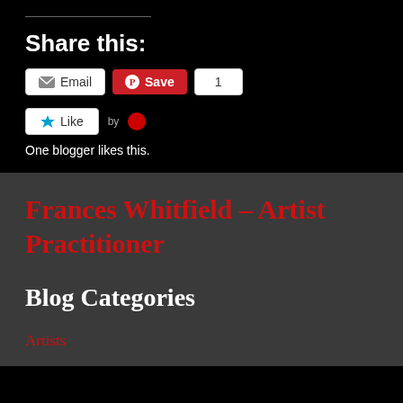Share this:
[Figure (screenshot): Share buttons: Email button, Pinterest Save button with count of 1]
[Figure (screenshot): Like button with avatar dot. Text: One blogger likes this.]
One blogger likes this.
Frances Whitfield – Artist Practitioner
Blog Categories
Artists